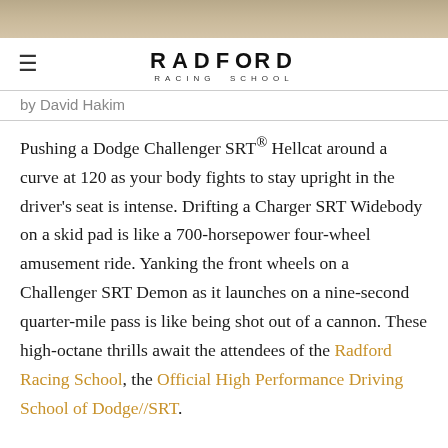[Figure (photo): Partial photo strip at top of page showing a sandy or dirt surface, warm tan/brown tones]
≡   RADFORD RACING SCHOOL
by David Hakim
Pushing a Dodge Challenger SRT® Hellcat around a curve at 120 as your body fights to stay upright in the driver's seat is intense. Drifting a Charger SRT Widebody on a skid pad is like a 700-horsepower four-wheel amusement ride. Yanking the front wheels on a Challenger SRT Demon as it launches on a nine-second quarter-mile pass is like being shot out of a cannon. These high-octane thrills await the attendees of the Radford Racing School, the Official High Performance Driving School of Dodge//SRT.